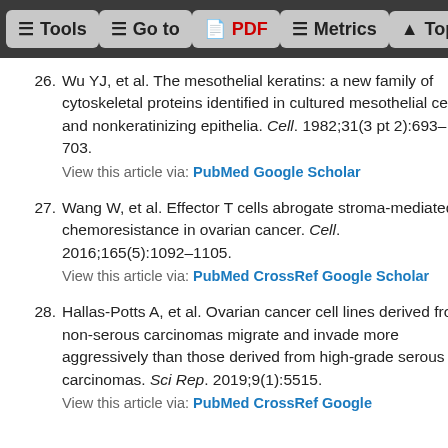Tools  Go to  PDF  Metrics  Top
26. Wu YJ, et al. The mesothelial keratins: a new family of cytoskeletal proteins identified in cultured mesothelial cells and nonkeratinizing epithelia. Cell. 1982;31(3 pt 2):693–703. View this article via: PubMed Google Scholar
27. Wang W, et al. Effector T cells abrogate stroma-mediated chemoresistance in ovarian cancer. Cell. 2016;165(5):1092–1105. View this article via: PubMed CrossRef Google Scholar
28. Hallas-Potts A, et al. Ovarian cancer cell lines derived from non-serous carcinomas migrate and invade more aggressively than those derived from high-grade serous carcinomas. Sci Rep. 2019;9(1):5515. View this article via: PubMed CrossRef Google